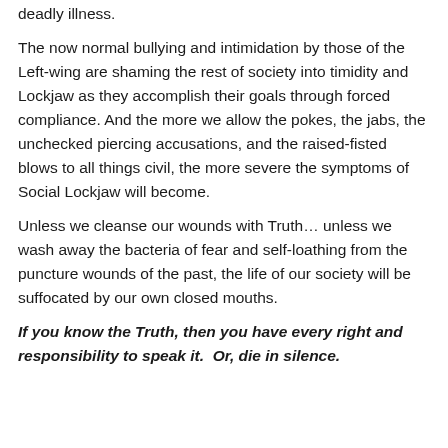deadly illness.
The now normal bullying and intimidation by those of the Left-wing are shaming the rest of society into timidity and Lockjaw as they accomplish their goals through forced compliance. And the more we allow the pokes, the jabs, the unchecked piercing accusations, and the raised-fisted blows to all things civil, the more severe the symptoms of Social Lockjaw will become.
Unless we cleanse our wounds with Truth… unless we wash away the bacteria of fear and self-loathing from the puncture wounds of the past, the life of our society will be suffocated by our own closed mouths.
If you know the Truth, then you have every right and responsibility to speak it.  Or, die in silence.